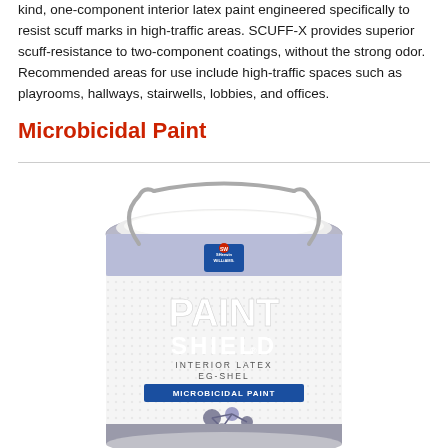kind, one-component interior latex paint engineered specifically to resist scuff marks in high-traffic areas. SCUFF-X provides superior scuff-resistance to two-component coatings, without the strong odor. Recommended areas for use include high-traffic spaces such as playrooms, hallways, stairwells, lobbies, and offices.
Microbicidal Paint
[Figure (photo): A gallon can of Sherwin-Williams Paint Shield Interior Latex EG-Shel Microbicidal Paint, open lid showing white paint, with blue label and product code D12.W.51 visible at the bottom.]